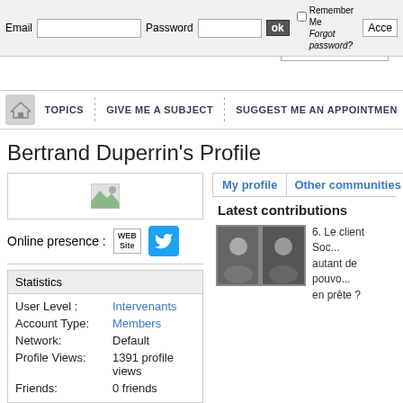Email  Password  ok  Remember Me  Forgot password?  Acce
search...
TOPICS  |  GIVE ME A SUBJECT  |  SUGGEST ME AN APPOINTMENT
Bertrand Duperrin's Profile
[Figure (screenshot): Profile image placeholder thumbnail]
Online presence :
[Figure (screenshot): WEB Site button and Twitter blue bird icon button]
Statistics
User Level :  Intervenants
Account Type: Members
Network:      Default
Profile Views: 1391 profile views
Friends:       0 friends
My profile
Other communities (14)
Latest contributions
6. Le client Soc... autant de pouvo... en prête ?